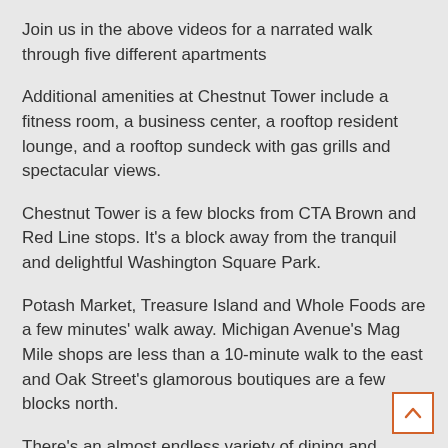Join us in the above videos for a narrated walk through five different apartments
Additional amenities at Chestnut Tower include a fitness room, a business center, a rooftop resident lounge, and a rooftop sundeck with gas grills and spectacular views.
Chestnut Tower is a few blocks from CTA Brown and Red Line stops. It's a block away from the tranquil and delightful Washington Square Park.
Potash Market, Treasure Island and Whole Foods are a few minutes' walk away. Michigan Avenue's Mag Mile shops are less than a 10-minute walk to the east and Oak Street's glamorous boutiques are a few blocks north.
There's an almost endless variety of dining and nightlife options within a few blocks of Chestnut Tower's location on the border of the Gold Coast and River North.